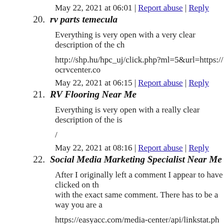May 22, 2021 at 06:01 | Report abuse | Reply
20. rv parts temecula
Everything is very open with a very clear description of the ch
http://shp.hu/hpc_uj/click.php?ml=5&url=https://ocrvcenter.co
May 22, 2021 at 06:15 | Report abuse | Reply
21. RV Flooring Near Me
Everything is very open with a really clear description of the is
/
May 22, 2021 at 08:16 | Report abuse | Reply
22. Social Media Marketing Specialist Near Me
After I originally left a comment I appear to have clicked on th with the exact same comment. There has to be a way you are a
https://easyacc.com/media-center/api/linkstat.php?redirect=htt
May 22, 2021 at 12:08 | Report abuse | Reply
23. how to repair rv plumbing
This is very open and a very open...